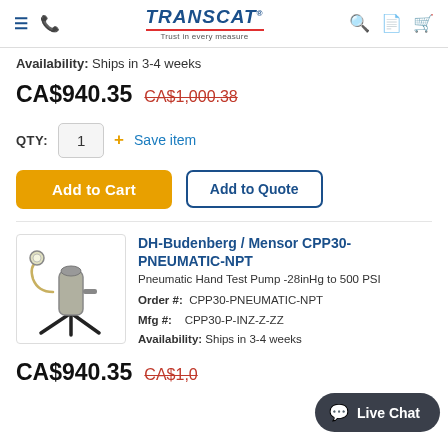TRANSCAT – Trust in every measure
Availability: Ships in 3-4 weeks
CA$940.35  CA$1,000.38
QTY: 1  + Save item
Add to Cart  Add to Quote
[Figure (photo): Pneumatic hand test pump device with black tripod base and tubing]
DH-Budenberg / Mensor CPP30-PNEUMATIC-NPT
Pneumatic Hand Test Pump -28inHg to 500 PSI
Order #: CPP30-PNEUMATIC-NPT
Mfg #: CPP30-P-INZ-Z-ZZ
Availability: Ships in 3-4 weeks
CA$940.35  CA$1,0…
Live Chat